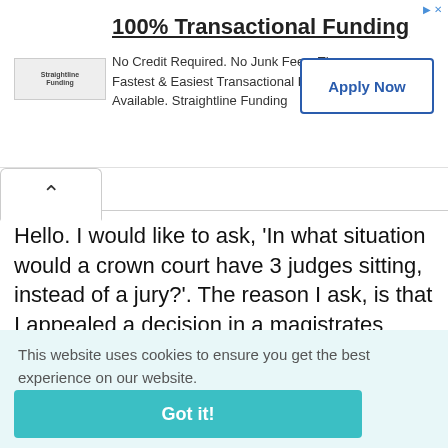[Figure (screenshot): Advertisement banner for Straightline Funding: '100% Transactional Funding', 'No Credit Required. No Junk Fees. The Fastest & Easiest Transactional Funding Available. Straightline Funding', with an 'Apply Now' button and logo.]
Hello. I would like to ask, 'In what situation would a crown court have 3 judges sitting, instead of a jury?'. The reason I ask, is that I appealed a decision in a magistrates court, and asked to be tried by jury. Unforunately, I
This website uses cookies to ensure you get the best experience on our website.
Cookie Policy
Got it!
appreciated. Thanks.